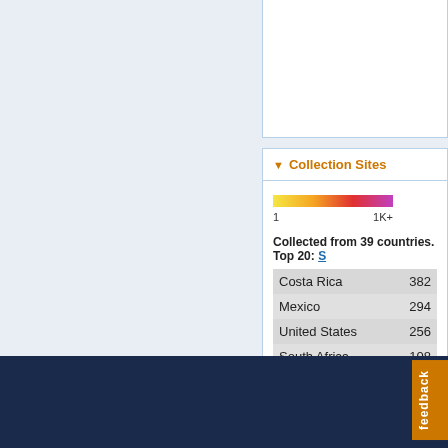Collection Sites
[Figure (other): Color gradient scale bar from yellow to orange to red to purple, labeled 1 on left and 1K+ on right]
Collected from 39 countries. Top 20: S
| Country | Count |
| --- | --- |
| Costa Rica | 382 |
| Mexico | 294 |
| United States | 256 |
| South Africa | 108 |
| Dominican Republic | 83 |
| Iran | 83 |
| Georgia | 47 |